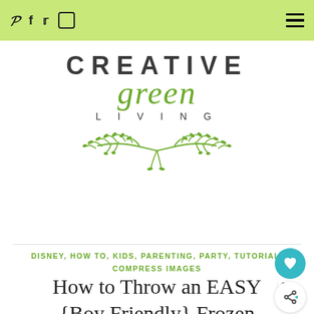Pinterest, Facebook, Twitter, Instagram social icons; hamburger menu
[Figure (logo): Creative Green Living logo with botanical decorative element]
DISNEY, HOW TO, KIDS, PARENTING, PARTY, TUTORIAL, COMPRESS IMAGES
How to Throw an EASY {Boy Friendly} Frozen